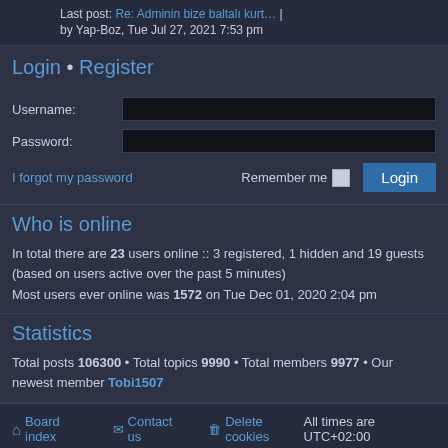Last post: Re: Adminin bize baltalı kurt… | by Yap-Boz, Tue Jul 27, 2021 7:53 pm
Login • Register
Username:
Password:
I forgot my password   Remember me  Login
Who is online
In total there are 23 users online :: 3 registered, 1 hidden and 19 guests (based on users active over the past 5 minutes)
Most users ever online was 1572 on Tue Dec 01, 2020 2:04 pm
Statistics
Total posts 106300 • Total topics 9990 • Total members 9977 • Our newest member Tobi1507
Board index  Contact us  Delete cookies  All times are UTC+02:00
Powered by phpBB® Forum Software © phpBB Limited
Style by Arty - phpBB 3.3 by MrGaby
Privacy | Terms